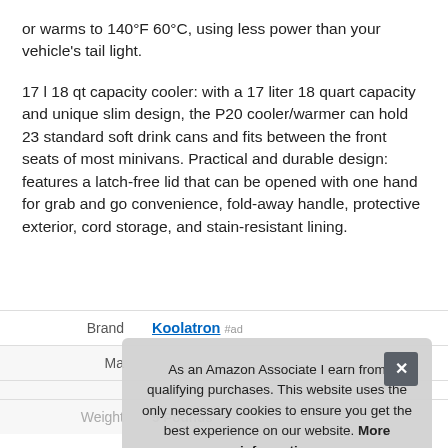or warms to 140°F 60°C, using less power than your vehicle's tail light.
17 l 18 qt capacity cooler: with a 17 liter 18 quart capacity and unique slim design, the P20 cooler/warmer can hold 23 standard soft drink cans and fits between the front seats of most minivans. Practical and durable design: features a latch-free lid that can be opened with one hand for grab and go convenience, fold-away handle, protective exterior, cord storage, and stain-resistant lining.
|  |  |
| --- | --- |
| Brand | Koolatron #ad |
| Ma |  |
|  |  |
| Weight | 5 Pounds |
As an Amazon Associate I earn from qualifying purchases. This website uses the only necessary cookies to ensure you get the best experience on our website. More information